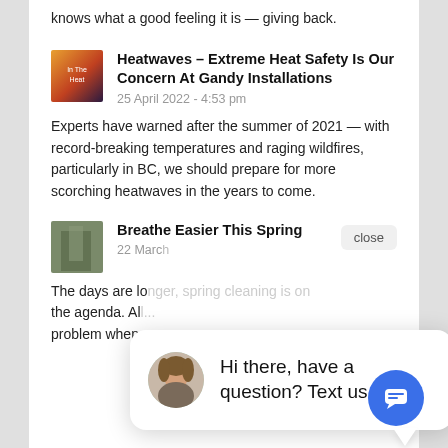knows what a good feeling it is — giving back.
Heatwaves – Extreme Heat Safety Is Our Concern At Gandy Installations
25 April 2022 - 4:53 pm
Experts have warned after the summer of 2021 — with record-breaking temperatures and raging wildfires, particularly in BC, we should prepare for more scorching heatwaves in the years to come.
Breathe Easier This Spring
22 March
The days are longer, spring cleaning is on the agenda. All...problem when...
[Figure (screenshot): Chat popup with avatar and text: Hi there, have a question? Text us here.]